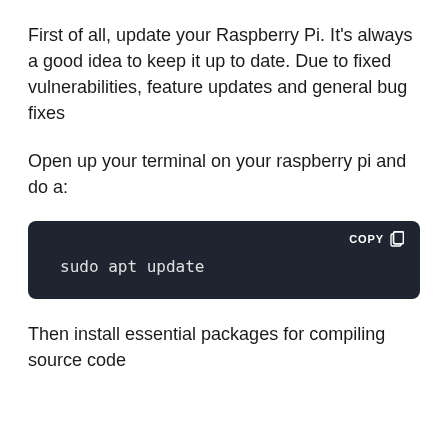First of all, update your Raspberry Pi. It’s always a good idea to keep it up to date. Due to fixed vulnerabilities, feature updates and general bug fixes
Open up your terminal on your raspberry pi and do a:
[Figure (screenshot): Dark-themed code block with 'COPY' button in top right corner, containing the command: sudo apt update]
Then install essential packages for compiling source code